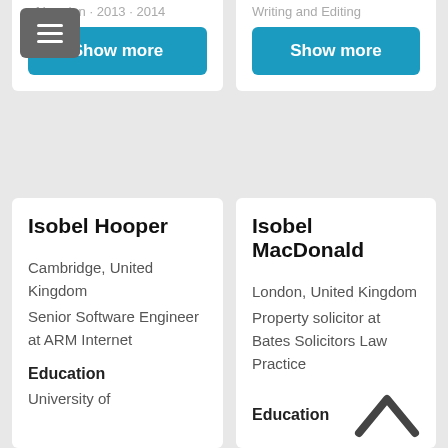[Figure (screenshot): Hamburger menu icon button (grey background, three white horizontal lines)]
Show more
Show more
Isobel Hooper
Cambridge, United Kingdom
Senior Software Engineer at ARM Internet
Education
University of
Isobel MacDonald
London, United Kingdom
Property solicitor at Bates Solicitors Law Practice
Education
College of